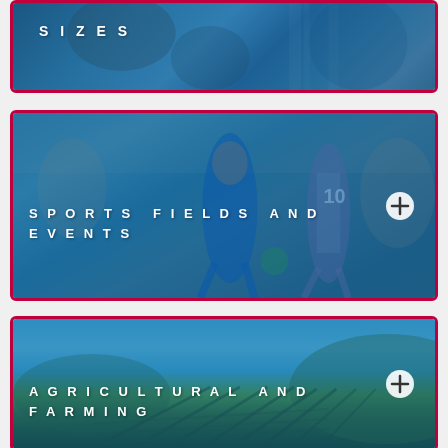[Figure (photo): Partial card at top showing 'Sizes' text over a blue-tinted sports/people photo with crimson border]
[Figure (photo): Card showing 'Sports Fields and Events' text over a blue-tinted soccer/football photo with a plus button and crimson border]
[Figure (photo): Card showing 'Agricultural and Farming' text over a blue-tinted vineyard/farm rows photo with a plus button and crimson border]